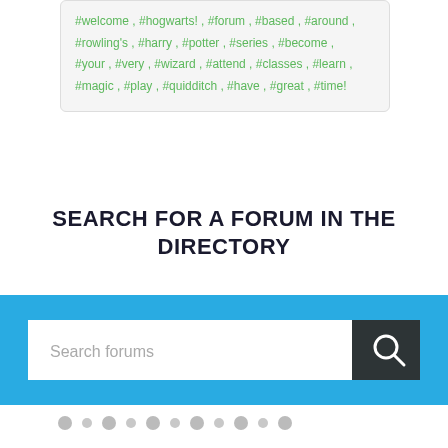#welcome , #hogwarts! , #forum , #based , #around , #rowling's , #harry , #potter , #series , #become , #your , #very , #wizard , #attend , #classes , #learn , #magic , #play , #quidditch , #have , #great , #time!
SEARCH FOR A FORUM IN THE DIRECTORY
[Figure (screenshot): Search bar with placeholder text 'Search forums' and a dark search button with magnifying glass icon, on a blue background]
[Figure (other): Row of grey pagination dots]
CREATE A FREE FORUM